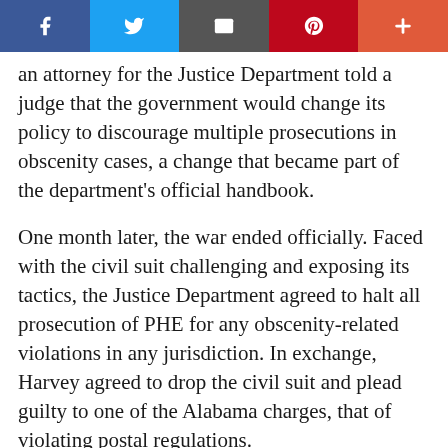Social share bar: Facebook, Twitter, Email, Pinterest, Plus
an attorney for the Justice Department told a judge that the government would change its policy to discourage multiple prosecutions in obscenity cases, a change that became part of the department's official handbook.
One month later, the war ended officially. Faced with the civil suit challenging and exposing its tactics, the Justice Department agreed to halt all prosecution of PHE for any obscenity-related violations in any jurisdiction. In exchange, Harvey agreed to drop the civil suit and plead guilty to one of the Alabama charges, that of violating postal regulations.
"It was one of those great moments lawyers have, when you feel like you were part of a fight that was bigger than you," says Rudolf, whose career in